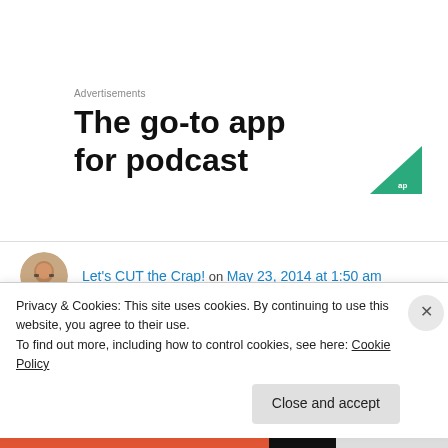Advertisements
[Figure (infographic): Advertisement for a podcast app showing bold text 'The go-to app for podcast' with a green triangle logo in the bottom right corner]
Let's CUT the Crap! on May 23, 2014 at 1:50 am
I like how you keep saying, “not yet”.
Privacy & Cookies: This site uses cookies. By continuing to use this website, you agree to their use.
To find out more, including how to control cookies, see here: Cookie Policy